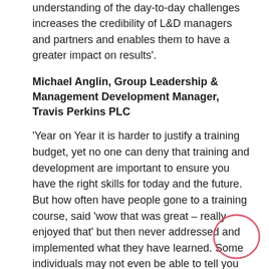understanding of the day-to-day challenges increases the credibility of L&D managers and partners and enables them to have a greater impact on results'.
Michael Anglin, Group Leadership & Management Development Manager, Travis Perkins PLC
'Year on Year it is harder to justify a training budget, yet no one can deny that training and development are important to ensure you have the right skills for today and the future. But how often have people gone to a training course, said 'wow that was great – really enjoyed that' but then never addressed and implemented what they have learned. Some individuals may not even be able to tell you what the course was about once they leave the training room.
Training is a necessary investment but we need to get better at justifying the spend. Gone are the days where
[Figure (illustration): A pink/red hand-drawn circle annotation in the bottom right corner of the page, encircling part of the last paragraph text.]